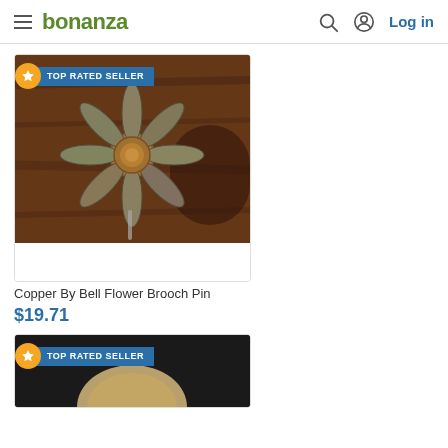bonanza  Log in
[Figure (screenshot): Product listing card with 'TOP RATED SELLER' badge showing a copper flower brooch pin on brown wooden background]
Copper By Bell Flower Brooch Pin
$19.71
[Figure (screenshot): Second product listing card with 'TOP RATED SELLER' badge, partially visible product image on dark background]